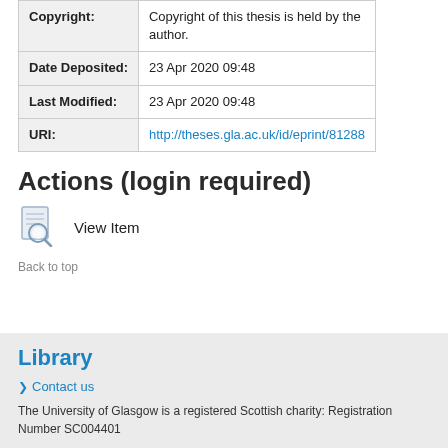|  |  |
| --- | --- |
| Copyright: | Copyright of this thesis is held by the author. |
| Date Deposited: | 23 Apr 2020 09:48 |
| Last Modified: | 23 Apr 2020 09:48 |
| URI: | http://theses.gla.ac.uk/id/eprint/81288 |
Actions (login required)
View Item
Back to top
Library
Contact us
The University of Glasgow is a registered Scottish charity: Registration Number SC004401